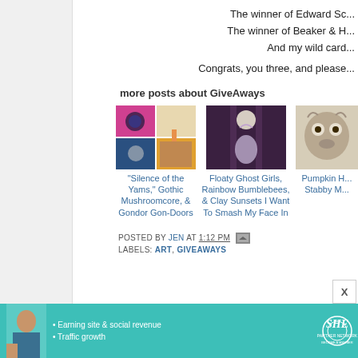The winner of Edward Sc...
The winner of Beaker & H...
And my wild card...
Congrats, you three, and please...
more posts about GiveAways
[Figure (photo): Food collage with colorful dishes]
"Silence of the Yams," Gothic Mushroomcore, & Gondor Gon-Doors
[Figure (photo): Dark fantasy art with ghost girl and moon]
Floaty Ghost Girls, Rainbow Bumblebees, & Clay Sunsets I Want To Smash My Face In
[Figure (photo): Knitted owl figurine]
Pumpkin H... Stabby M...
POSTED BY JEN AT 1:12 PM
LABELS: ART, GIVEAWAYS
[Figure (infographic): SHE Partner Network advertisement banner]